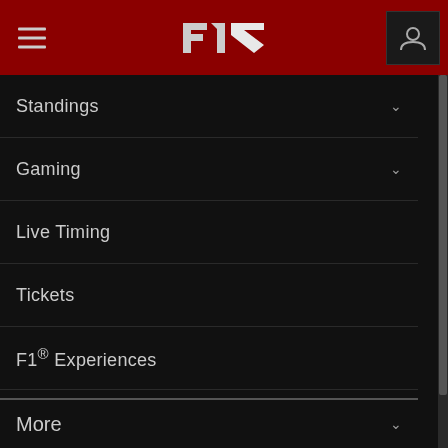F1 Navigation Header with hamburger menu and user icon
Standings
Gaming
Live Timing
Tickets
F1® Experiences
Store
Paddock Club
F1® TV
F1® Authentics
Rules & Regulations
More